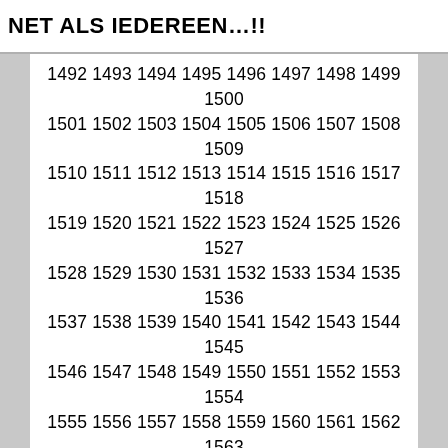NET ALS IEDEREEN…!!
1492 1493 1494 1495 1496 1497 1498 1499 1500 1501 1502 1503 1504 1505 1506 1507 1508 1509 1510 1511 1512 1513 1514 1515 1516 1517 1518 1519 1520 1521 1522 1523 1524 1525 1526 1527 1528 1529 1530 1531 1532 1533 1534 1535 1536 1537 1538 1539 1540 1541 1542 1543 1544 1545 1546 1547 1548 1549 1550 1551 1552 1553 1554 1555 1556 1557 1558 1559 1560 1561 1562 1563 1564 1565 1566 1567 1568 1569 1570 1571 1572 1573 1574 1575 1576 1577 1578 1579 1580 1581 1582 1583 1584 1585 1586 1587 1588 1589 1590 1591 1592 1593 1594 1595 1596 1597 1598 1599 1600 1601 1602 1603 1604 1605 1606 1607 1608 1609 1610 1611 1612 1613 1614 1615 1616 1617 1618 1619 1620 1621 1622 1623 1624 1625 1626 1627 1628 1629 1630 1631 1632 1633 1634 1635 1636 1637 1638 1639 1640 1641 1642 1643 1644 1645 1646 1647 1648 1649 1650 1651 1652 1653